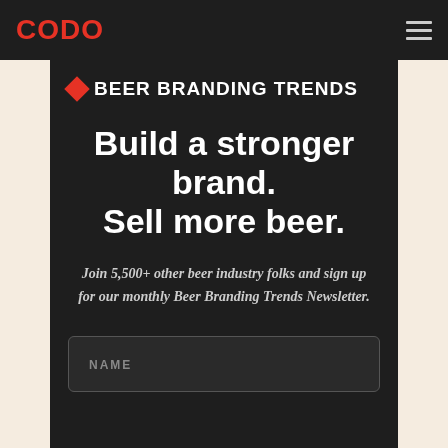CODO
BEER BRANDING TRENDS
Build a stronger brand. Sell more beer.
Join 5,500+ other beer industry folks and sign up for our monthly Beer Branding Trends Newsletter.
NAME